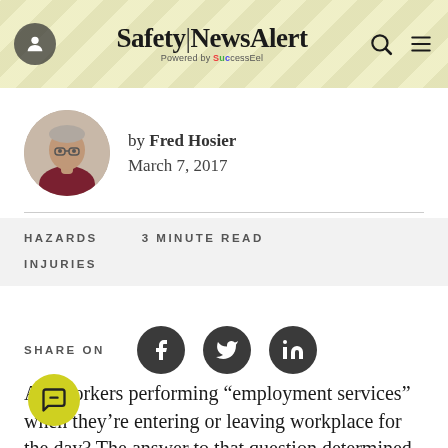Safety|NewsAlert — Powered by SuccessEel
[Figure (photo): Circular headshot of Fred Hosier, a middle-aged man with glasses and short gray hair wearing a dark red shirt]
by Fred Hosier
March 7, 2017
HAZARDS   3 MINUTE READ
INJURIES
SHARE ON
Are workers performing “employment services” when they’re entering or leaving workplace for the day? The answer to that question determined whether this